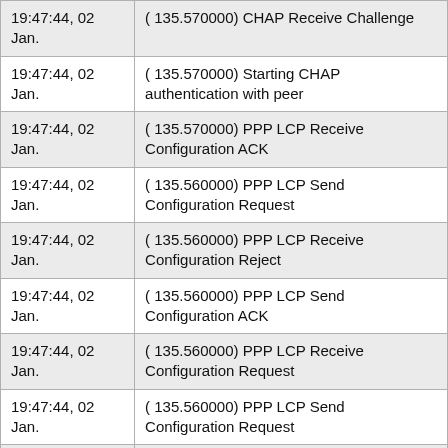| Timestamp | Event |
| --- | --- |
| 19:47:44, 02 Jan. | ( 135.570000) CHAP Receive Challenge |
| 19:47:44, 02 Jan. | ( 135.570000) Starting CHAP authentication with peer |
| 19:47:44, 02 Jan. | ( 135.570000) PPP LCP Receive Configuration ACK |
| 19:47:44, 02 Jan. | ( 135.560000) PPP LCP Send Configuration Request |
| 19:47:44, 02 Jan. | ( 135.560000) PPP LCP Receive Configuration Reject |
| 19:47:44, 02 Jan. | ( 135.560000) PPP LCP Send Configuration ACK |
| 19:47:44, 02 Jan. | ( 135.560000) PPP LCP Receive Configuration Request |
| 19:47:44, 02 Jan. | ( 135.560000) PPP LCP Send Configuration Request |
| 19:46:55, 02 Jan. | ( 86.750000) PTM over DSL is up |
| 19:46:02, 02 Jan. | ( 33.730000) WAN Auto-sensing running. |
| 19:44:57, 02 | (614257.440000) PPP LCP Send |